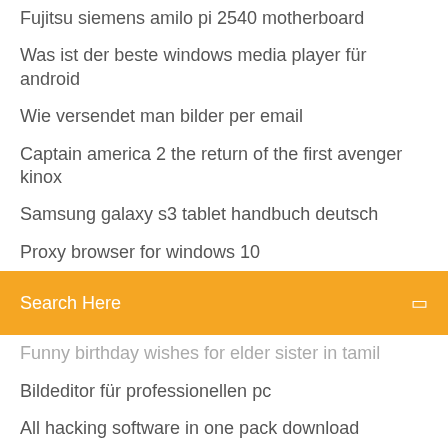Fujitsu siemens amilo pi 2540 motherboard
Was ist der beste windows media player für android
Wie versendet man bilder per email
Captain america 2 the return of the first avenger kinox
Samsung galaxy s3 tablet handbuch deutsch
Proxy browser for windows 10
Search Here
Funny birthday wishes for elder sister in tamil
Bildeditor für professionellen pc
All hacking software in one pack download
Kannst du ein animiertes gif auf facebook-cover verwenden_
Visual studio 2019 offline installer filehippo
Canon mg3170 scannertreiber für windows 10
Download treiber für mfc-j6720dw
Hl-l2305w driver
Cd in den gelben sack
Wie ändere ich die größe einer pdf seite